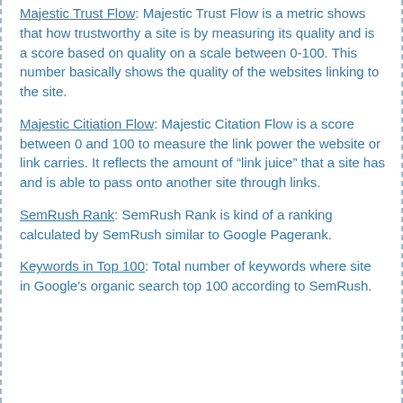Majestic Trust Flow: Majestic Trust Flow is a metric shows that how trustworthy a site is by measuring its quality and is a score based on quality on a scale between 0-100. This number basically shows the quality of the websites linking to the site.
Majestic Citiation Flow: Majestic Citation Flow is a score between 0 and 100 to measure the link power the website or link carries. It reflects the amount of “link juice” that a site has and is able to pass onto another site through links.
SemRush Rank: SemRush Rank is kind of a ranking calculated by SemRush similar to Google Pagerank.
Keywords in Top 100: Total number of keywords where site in Google's organic search top 100 according to SemRush.